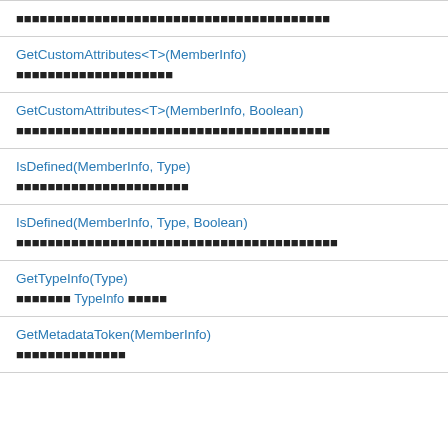| (description row 1 - placeholder text) |
| GetCustomAttributes<T>(MemberInfo) | (description row 2) |
| GetCustomAttributes<T>(MemberInfo, Boolean) | (description row 3) |
| IsDefined(MemberInfo, Type) | (description row 4) |
| IsDefined(MemberInfo, Type, Boolean) | (description row 5) |
| GetTypeInfo(Type) | TypeInfo (description) |
| GetMetadataToken(MemberInfo) | (description row 7) |
| (empty row) |